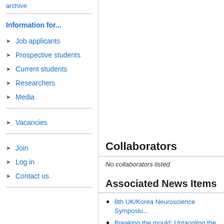archive
Information for...
Job applicants
Prospective students
Current students
Researchers
Media
Vacancies
Join
Log in
Contact us
Collaborators
No collaborators listed
Associated News Items
8th UK/Korea Neuroscience Symposiu...
Breaking the mould: Untangling the jel...
Video Launch: World Alzheimer's Day